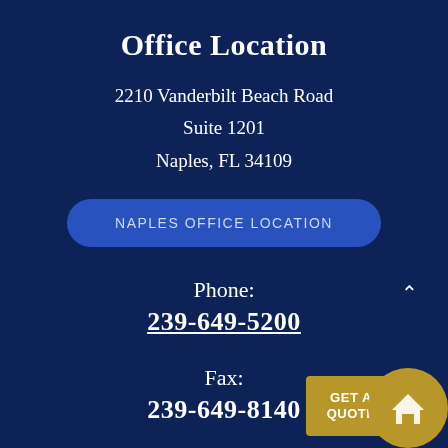Office Location
2210 Vanderbilt Beach Road
Suite 1201
Naples, FL 34109
NAPLES OFFICE LOCATION
Phone:
239-649-5200
Fax:
239-649-8140
[Figure (other): GET A QUOTE badge with house icon, gold colored rounded rectangle and circle]